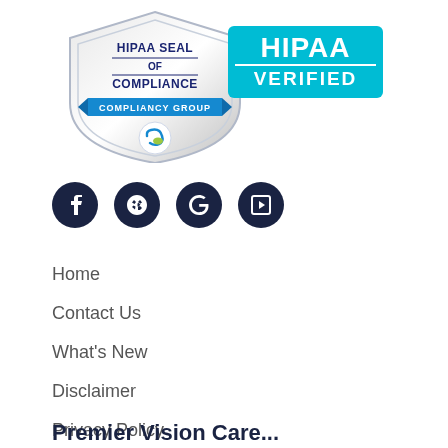[Figure (logo): HIPAA Seal of Compliance badge from Compliancy Group with HIPAA Verified cyan banner, showing a shield with text 'HIPAA SEAL OF COMPLIANCE COMPLIANCY GROUP' and a circular logo, alongside a cyan rectangle reading 'HIPAA VERIFIED']
[Figure (infographic): Row of four dark navy circular social media icon buttons: Facebook (f), Yelp (yelp burst), Google (G), and a square play/YouTube icon]
Home
Contact Us
What's New
Disclaimer
Privacy Policy
Premier Vision Care...